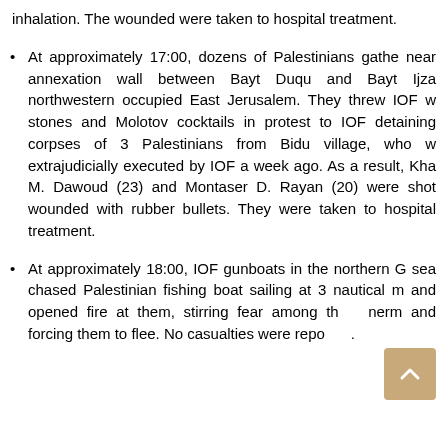inhalation. The wounded were taken to hospital treatment.
At approximately 17:00, dozens of Palestinians gathered near annexation wall between Bayt Duqu and Bayt Ijza in northwestern occupied East Jerusalem. They threw IOF with stones and Molotov cocktails in protest to IOF detaining corpses of 3 Palestinians from Bidu village, who were extrajudicially executed by IOF a week ago. As a result, Kha M. Dawoud (23) and Montaser D. Rayan (20) were shot and wounded with rubber bullets. They were taken to hospital for treatment.
At approximately 18:00, IOF gunboats in the northern Gaza sea chased Palestinian fishing boat sailing at 3 nautical miles and opened fire at them, stirring fear among them and forcing them to flee. No casualties were reported.